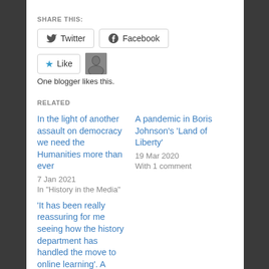SHARE THIS:
Twitter  Facebook
Like  One blogger likes this.
RELATED
In the light of another assault on democracy we need the Humanities more than ever
7 Jan 2021
In "History in the Media"
A pandemic in Boris Johnson's 'Land of Liberty'
19 Mar 2020
With 1 comment
'It has been really reassuring for me seeing how the history department has handled the move to online learning'. A History